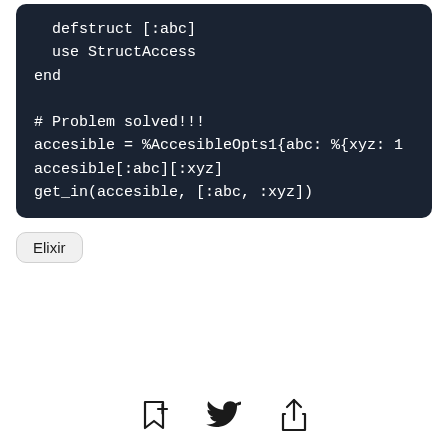[Figure (screenshot): Dark-themed code block showing Elixir code: defstruct [:abc], use StructAccess, end, # Problem solved!!!, accesible = %AccesibleOpts1{abc: %{xyz: 1, accesible[:abc][:xyz], get_in(accesible, [:abc, :xyz])]
Elixir